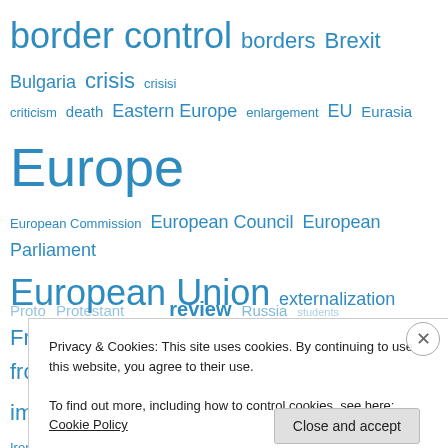[Figure (infographic): Tag cloud with blue terms of varying sizes related to European politics, migration, culture, and art. Terms include: border control, borders, Brexit, Bulgaria, crisis, crisisi, criticism, death, Eastern Europe, enlargement, EU, Eurasia, Europe, European Commission, European Council, European Parliament, European Union, externalization, France, Freud, fringes, frontier, frontiers, governance, heaven, Hungary, illusion, images, installation, integration, Iron Lady, Italy, John Terry, kosovo, land art, Mediterranean, migrants, migration, music, neighbourhood, Nobel, package, pandemic, peace, performance, photography, Poland, popular culture, prayer, review, Russia]
Privacy & Cookies: This site uses cookies. By continuing to use this website, you agree to their use.
To find out more, including how to control cookies, see here: Cookie Policy
Close and accept